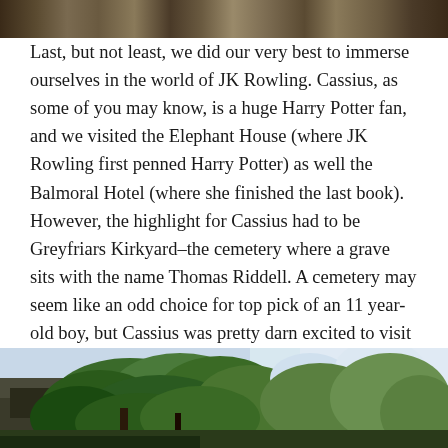[Figure (photo): Top portion of a photo showing figures, cropped at top of page]
Last, but not least, we did our very best to immerse ourselves in the world of JK Rowling. Cassius, as some of you may know, is a huge Harry Potter fan, and we visited the Elephant House (where JK Rowling first penned Harry Potter) as well the Balmoral Hotel (where she finished the last book). However, the highlight for Cassius had to be Greyfriars Kirkyard–the cemetery where a grave sits with the name Thomas Riddell. A cemetery may seem like an odd choice for top pick of an 11 year-old boy, but Cassius was pretty darn excited to visit the gravesite of the real life man whose name inspired the Dark Lord Voldemort!
[Figure (photo): Bottom portion of a photo showing green trees/foliage and stone structures at Greyfriars Kirkyard]